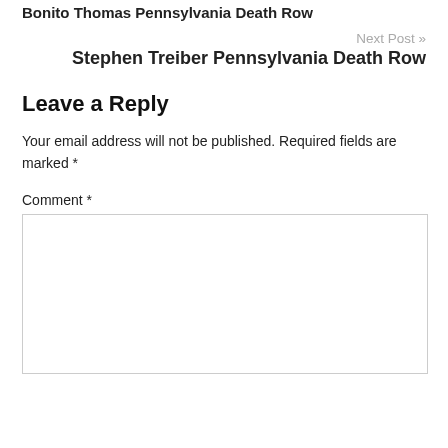Bonito Thomas Pennsylvania Death Row
Next Post »
Stephen Treiber Pennsylvania Death Row
Leave a Reply
Your email address will not be published. Required fields are marked *
Comment *